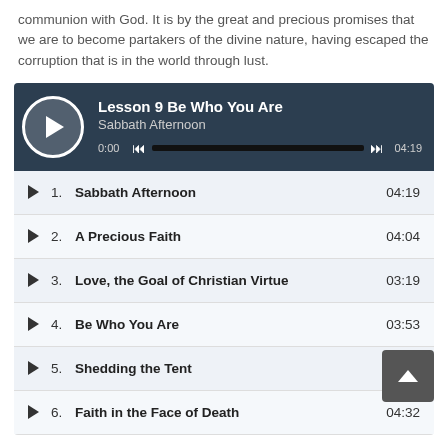communion with God. It is by the great and precious promises that we are to become partakers of the divine nature, having escaped the corruption that is in the world through lust.
[Figure (screenshot): Audio player widget showing 'Lesson 9 Be Who You Are - Sabbath Afternoon' with playback controls, progress bar showing 0:00 / 04:19, and a playlist of 6 tracks]
1. Sabbath Afternoon — 04:19
2. A Precious Faith — 04:04
3. Love, the Goal of Christian Virtue — 03:19
4. Be Who You Are — 03:53
5. Shedding the Tent — 03:36
6. Faith in the Face of Death — 04:32